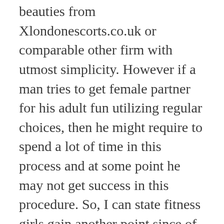beauties from Xlondonescorts.co.uk or comparable other firm with utmost simplicity. However if a man tries to get female partner for his adult fun utilizing regular choices, then he might require to spend a lot of time in this process and at some point he may not get success in this procedure. So, I can state fitness girls gain another point since of which I advise people to choose hot appeals from paid service.
At some point individuals might likewise claim that fitness girls or their charms can not offer you the best adult fun.